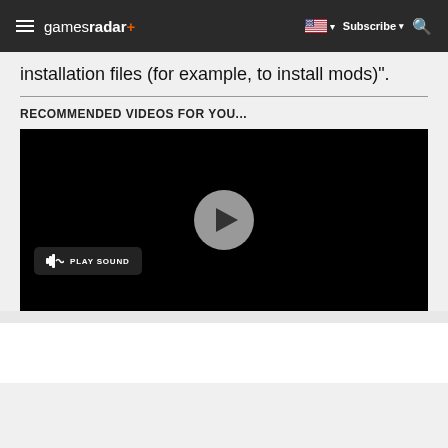gamesradar+  Subscribe
installation files (for example, to install mods)".
RECOMMENDED VIDEOS FOR YOU...
[Figure (screenshot): Black video player with a circular gray play button in the center and a 'PLAY SOUND' button in the lower left corner]